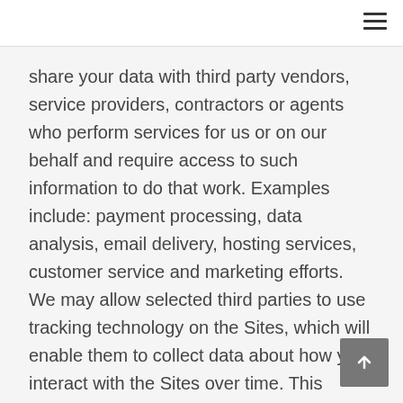share your data with third party vendors, service providers, contractors or agents who perform services for us or on our behalf and require access to such information to do that work. Examples include: payment processing, data analysis, email delivery, hosting services, customer service and marketing efforts. We may allow selected third parties to use tracking technology on the Sites, which will enable them to collect data about how you interact with the Sites over time. This information may be used to, among other things, analyze and track data, determine the popularity of certain content and better understand online activity. Unless described in this Policy, we do not share, sell,